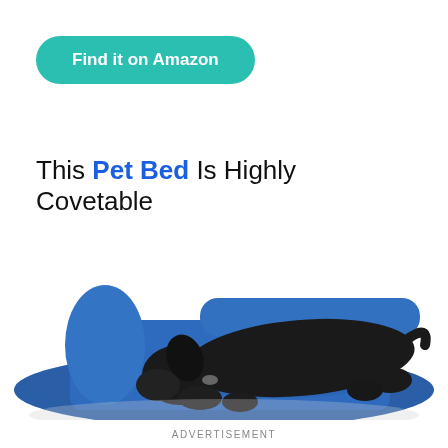[Figure (other): Teal/green rounded pill-shaped button with white bold text 'Find it on Amazon']
This Pet Bed Is Highly Covetable
[Figure (photo): A black dog sleeping on a large navy blue plush pet bed with raised sides/bolsters]
ADVERTISEMENT